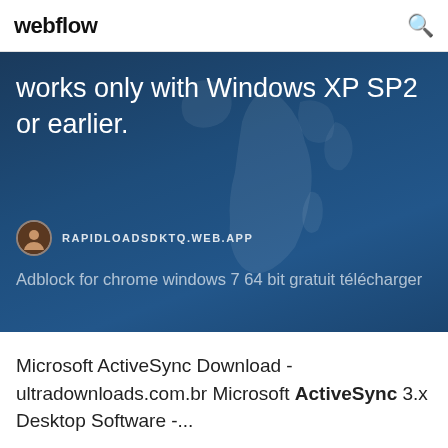webflow
works only with Windows XP SP2 or earlier.
RAPIDLOADSDKTQ.WEB.APP
Adblock for chrome windows 7 64 bit gratuit télécharger
Microsoft ActiveSync Download - ultradownloads.com.br Microsoft ActiveSync 3.x Desktop Software -...